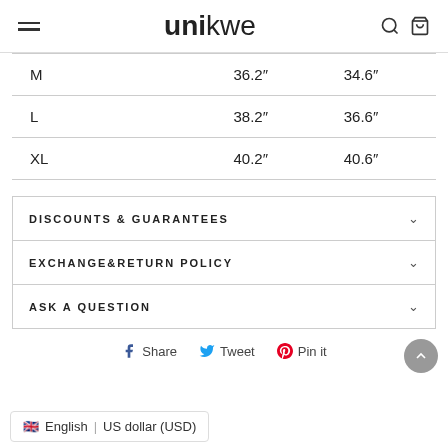unikwe
| M | 36.2" | 34.6" |
| L | 38.2" | 36.6" |
| XL | 40.2" | 40.6" |
DISCOUNTS & GUARANTEES
EXCHANGE&RETURN POLICY
ASK A QUESTION
Share  Tweet  Pin it
English | US dollar (USD)